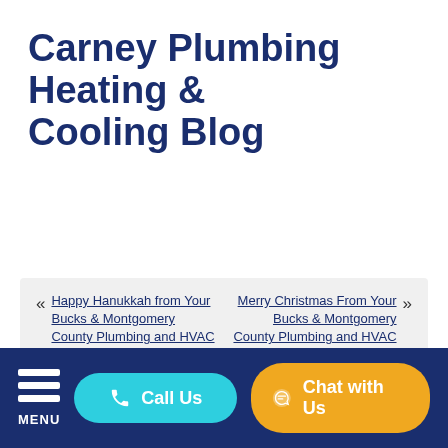Carney Plumbing Heating & Cooling Blog
« Happy Hanukkah from Your Bucks & Montgomery County Plumbing and HVAC Contractor!
Merry Christmas From Your Bucks & Montgomery County Plumbing and HVAC Contractor! »
Signs of an Undersized
MENU  Call Us  Chat with Us